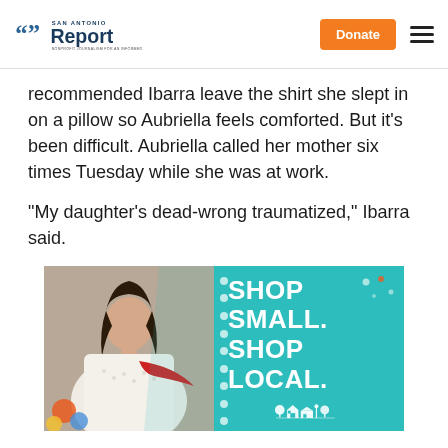San Antonio Report | Donate
recommended Ibarra leave the shirt she slept in on a pillow so Aubriella feels comforted. But it's been difficult. Aubriella called her mother six times Tuesday while she was at work.
“My daughter’s dead-wrong traumatized,” Ibarra said.
[Figure (infographic): Shop Small. Shop Local. advertisement banner with a woman shopping and a teal background with white house/store icons.]